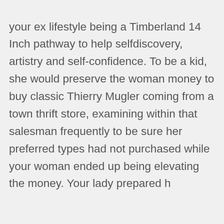your ex lifestyle being a Timberland 14 Inch pathway to help selfdiscovery, artistry and self-confidence. To be a kid, she would preserve the woman money to buy classic Thierry Mugler coming from a town thrift store, examining within that salesman frequently to be sure her preferred types had not purchased while your woman ended up being elevating the money. Your lady prepared h
Reply
Timberland Beach
5 years ago